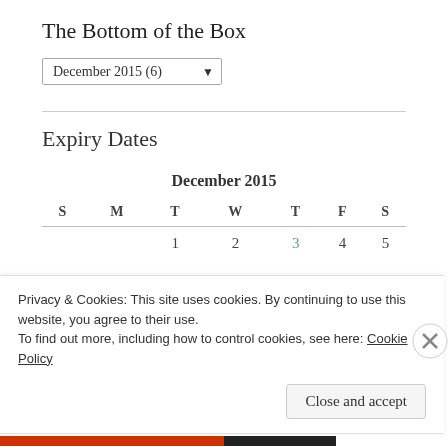The Bottom of the Box
December 2015  (6)
Expiry Dates
| S | M | T | W | T | F | S |
| --- | --- | --- | --- | --- | --- | --- |
|  |  |  | December 2015 |  |  |  |
|  |  | 1 | 2 | 3 | 4 | 5 |
Privacy & Cookies: This site uses cookies. By continuing to use this website, you agree to their use.
To find out more, including how to control cookies, see here: Cookie Policy
Close and accept